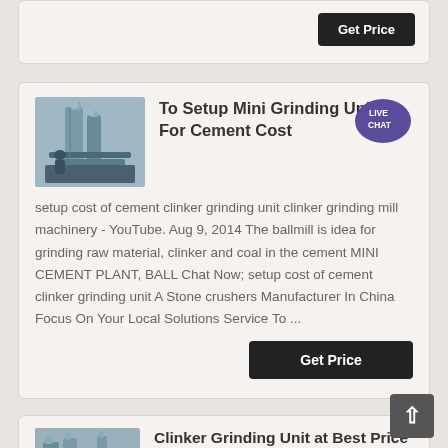[Figure (photo): Partial top card with Get Price button visible at top of page]
Get Price
[Figure (photo): Industrial cement grinding unit machinery photo]
To Setup Mini Grinding Unit For Cement Cost
setup cost of cement clinker grinding unit clinker grinding mill machinery - YouTube. Aug 9, 2014 The ballmill is idea for grinding raw material, clinker and coal in the cement MINI CEMENT PLANT, BALL Chat Now; setup cost of cement clinker grinding unit A Stone crushers Manufacturer In China Focus On Your Local Solutions Service To ...
Get Price
[Figure (photo): Clinker grinding unit / cement plant industrial photo]
Clinker Grinding Unit at Best Price in India